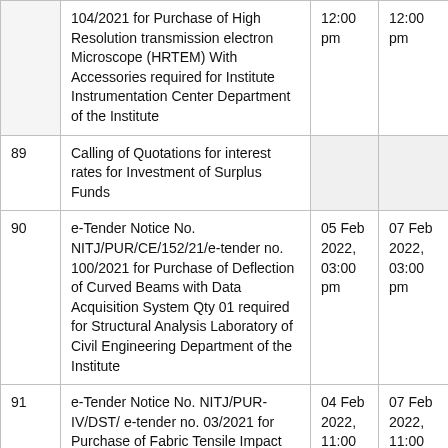|  | Description | Start Date | End Date |
| --- | --- | --- | --- |
|  | 104/2021 for Purchase of High Resolution transmission electron Microscope (HRTEM) With Accessories required for Institute Instrumentation Center Department of the Institute | 12:00 pm | 12:00 pm |
| 89 | Calling of Quotations for interest rates for Investment of Surplus Funds |  |  |
| 90 | e-Tender Notice No. NITJ/PUR/CE/152/21/e-tender no. 100/2021 for Purchase of Deflection of Curved Beams with Data Acquisition System Qty 01 required for Structural Analysis Laboratory of Civil Engineering Department of the Institute | 05 Feb 2022, 03:00 pm | 07 Feb 2022, 03:00 pm |
| 91 | e-Tender Notice No. NITJ/PUR-IV/DST/ e-tender no. 03/2021 for Purchase of Fabric Tensile Impact Testing Machine required for Various Departments of the | 04 Feb 2022, 11:00 am | 07 Feb 2022, 11:00 am |